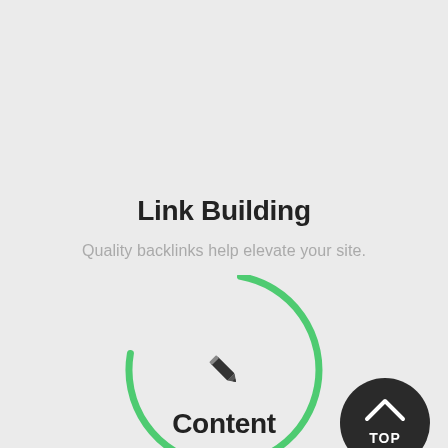Link Building
Quality backlinks help elevate your site.
[Figure (infographic): Partial circular arc in green (about 270 degrees, open at bottom-left), with a pencil icon in the center, representing link building activity. A dark circular button with an upward chevron and the text 'TOP' is placed at the bottom-right.]
Content